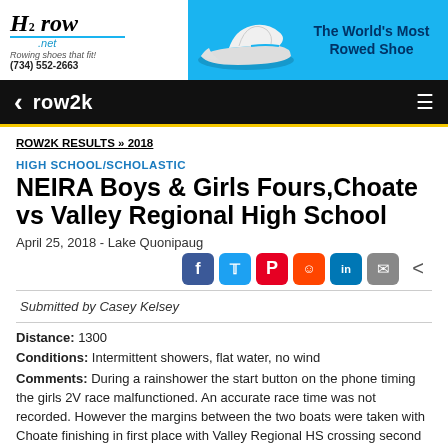[Figure (illustration): H2row.net banner advertisement showing rowing shoes. Left white section has logo 'H2 row .net', tagline 'Rowing shoes that fit! (734) 552-2663'. Center shows a white rowing shoe on blue background. Right shows 'The World's Most Rowed Shoe' text.]
row2k
ROW2K RESULTS » 2018
HIGH SCHOOL/SCHOLASTIC
NEIRA Boys & Girls Fours,Choate vs Valley Regional High School
April 25, 2018 - Lake Quonipaug
Submitted by Casey Kelsey
Distance: 1300
Conditions: Intermittent showers, flat water, no wind
Comments: During a rainshower the start button on the phone timing the girls 2V race malfunctioned. An accurate race time was not recorded. However the margins between the two boats were taken with Choate finishing in first place with Valley Regional HS crossing second 46.8 seconds behind.